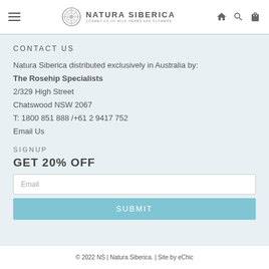Natura Siberica — Cosmetics of Wild Herbs and Flowers
CONTACT US
Natura Siberica distributed exclusively in Australia by: The Rosehip Specialists 2/329 High Street Chatswood NSW 2067 T: 1800 851 888 /+61 2 9417 752 Email Us
SIGNUP
GET 20% OFF
Email
SUBMIT
© 2022 NS | Natura Siberica. | Site by eChic